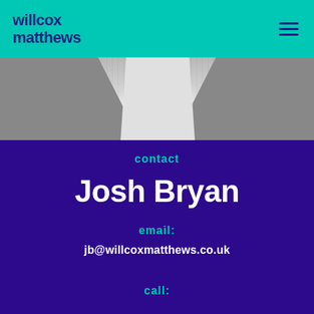[Figure (logo): Willcox Matthews logo — two-line text 'willcox matthews' in dark navy on teal background header bar]
[Figure (photo): Black and white cropped photo of a person wearing a grey suit jacket and white shirt, showing torso/chest area only]
contact
Josh Bryan
email:
jb@willcoxmatthews.co.uk
call: